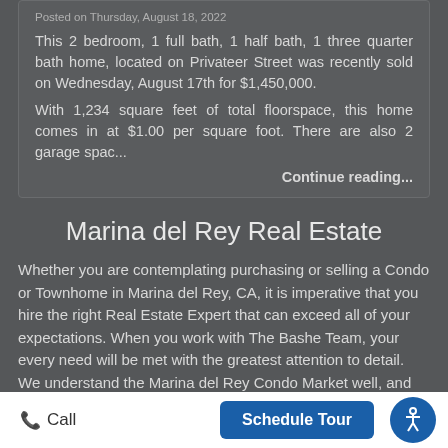Posted on Thursday, August 18, 2022
This 2 bedroom, 1 full bath, 1 half bath, 1 three quarter bath home, located on Privateer Street was recently sold on Wednesday, August 17th for $1,450,000.
With 1,234 square feet of total floorspace, this home comes in at $1.00 per square foot. There are also 2 garage spac...
Continue reading...
Marina del Rey Real Estate
Whether you are contemplating purchasing or selling a Condo or Townhome in Marina del Rey, CA, it is imperative that you hire the right Real Estate Expert that can exceed all of your expectations. When you work with The Bashe Team, your every need will be met with the greatest attention to detail. We understand the Marina del Rey Condo Market well, and you will not find a more qualified Marina del Rey Real Estate Agent to...
Call   Schedule Tour